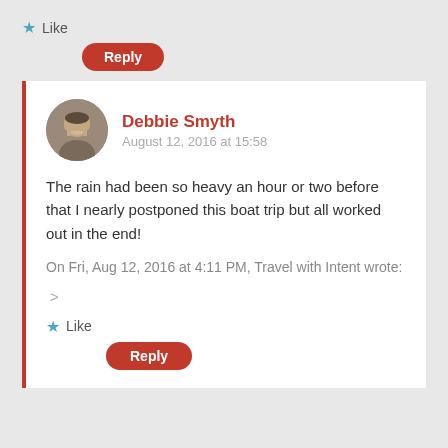★ Like
Reply
Debbie Smyth
August 12, 2016 at 15:58
The rain had been so heavy an hour or two before that I nearly postponed this boat trip but all worked out in the end!
On Fri, Aug 12, 2016 at 4:11 PM, Travel with Intent wrote:
>
★ Like
Reply